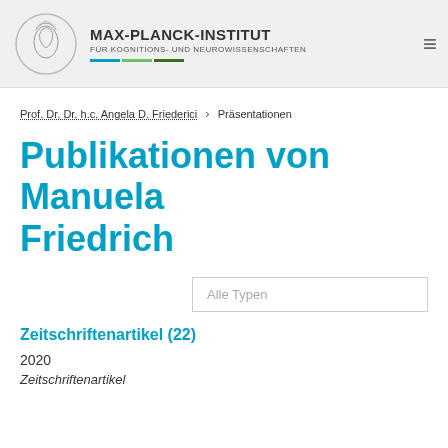MAX-PLANCK-INSTITUT FÜR KOGNITIONS- UND NEUROWISSENSCHAFTEN
Prof. Dr. Dr. h.c. Angela D. Friederici > Präsentationen
Publikationen von Manuela Friedrich
Alle Typen
Zeitschriftenartikel (22)
2020
Zeitschriftenartikel